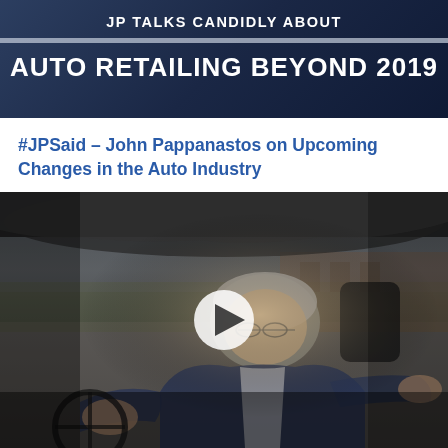[Figure (photo): Banner image with dark navy background. Top line reads 'JP TALKS CANDIDLY ABOUT' in white bold uppercase letters. A horizontal divider stripe separates it from the bottom line reading 'AUTO RETAILING BEYOND 2019' in large white bold uppercase letters.]
#JPSaid – John Pappanastos on Upcoming Changes in the Auto Industry
[Figure (photo): Video thumbnail showing a middle-aged man with gray hair and glasses sitting in the driver's seat of a car, gesturing with his hand. He is wearing a blue blazer over a light shirt. A white play button is overlaid in the center. The background shows a parking lot and brick building through the car window.]